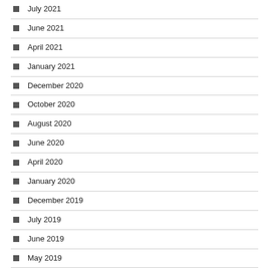July 2021
June 2021
April 2021
January 2021
December 2020
October 2020
August 2020
June 2020
April 2020
January 2020
December 2019
July 2019
June 2019
May 2019
April 2019